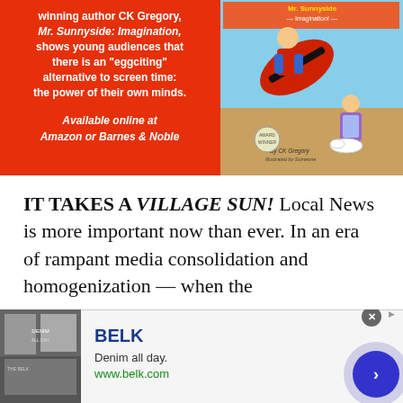[Figure (illustration): Book advertisement banner on red background. Left side shows bold white text promoting 'Mr. Sunnyside: Imagination' by award-winning author CK Gregory, noting it shows young audiences there is an 'eggciting' alternative to screen time: the power of their own minds. Available online at Amazon or Barnes & Noble. Right side shows colorful book cover with cartoon characters including a boy on a skateboard and another figure with eggs.]
IT TAKES A VILLAGE SUN! Local News is more important now than ever. In an era of rampant media consolidation and homogenization — when the
[Figure (screenshot): Belk advertisement banner at bottom of page. Shows Belk store imagery on left, BELK logo in blue, tagline 'Denim all day.' and URL www.belk.com. Has a circular close button and a circular blue next/forward button on the right side.]